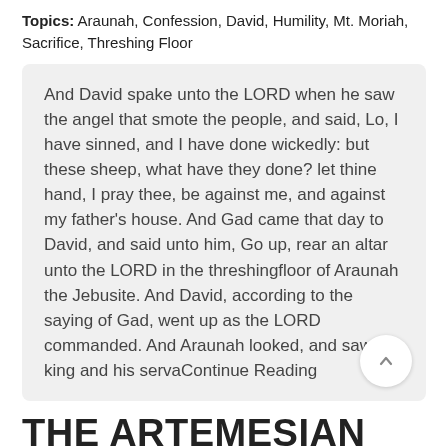Topics: Araunah, Confession, David, Humility, Mt. Moriah, Sacrifice, Threshing Floor
And David spake unto the LORD when he saw the angel that smote the people, and said, Lo, I have sinned, and I have done wickedly: but these sheep, what have they done? let thine hand, I pray thee, be against me, and against my father's house. And Gad came that day to David, and said unto him, Go up, rear an altar unto the LORD in the threshingfloor of Araunah the Jebusite. And David, according to the saying of Gad, went up as the LORD commanded. And Araunah looked, and saw the king and his servaContinue Reading
THE ARTEMESIAN CITY OF